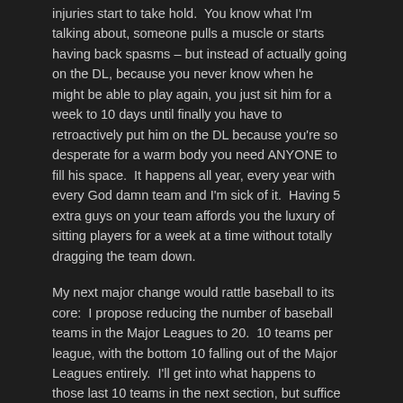injuries start to take hold.  You know what I'm talking about, someone pulls a muscle or starts having back spasms – but instead of actually going on the DL, because you never know when he might be able to play again, you just sit him for a week to 10 days until finally you have to retroactively put him on the DL because you're so desperate for a warm body you need ANYONE to fill his space.  It happens all year, every year with every God damn team and I'm sick of it.  Having 5 extra guys on your team affords you the luxury of sitting players for a week at a time without totally dragging the team down.
My next major change would rattle baseball to its core:  I propose reducing the number of baseball teams in the Major Leagues to 20.  10 teams per league, with the bottom 10 falling out of the Major Leagues entirely.  I'll get into what happens to those last 10 teams in the next section, but suffice it to say they will still exist in some capacity.
Reducing the number of teams (and trimming the fat, as it